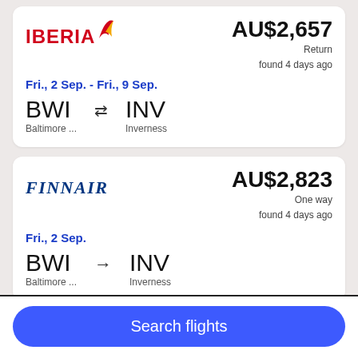[Figure (logo): Iberia airline logo with red text and bird/wing icon]
AU$2,657
Return
found 4 days ago
Fri., 2 Sep. - Fri., 9 Sep.
BWI ↔ INV
Baltimore ...    Inverness
[Figure (logo): Finnair airline logo in italic dark blue text]
AU$2,823
One way
found 4 days ago
Fri., 2 Sep.
BWI → INV
Baltimore ...    Inverness
Search flights